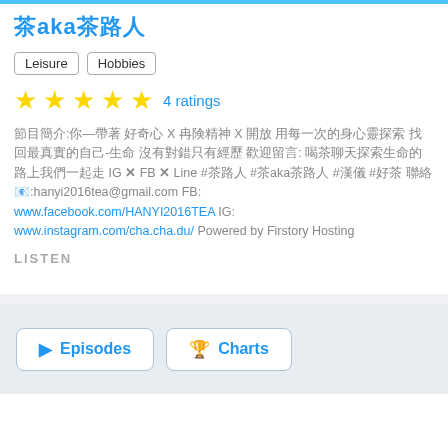茶aka茶路人
Leisure
Hobbies
4 ratings
節目簡介:你—帶著 好奇心 X 冒險精神 X 開放 用每一次的身心靈探索 找回最真實的自己-生命 沒有對錯只有經歷 歡迎留言: 喝茶聊天探索生命的路上我們一起走 IG X FB X Line #茶路人 #茶aka茶路人 #漢儀 #好茶 聯絡📧:hanyi2016tea@gmail.com FB: www.facebook.com/HANYI2016TEA IG: www.instagram.com/cha.cha.du/ Powered by Firstory Hosting
LISTEN
Episodes
Charts